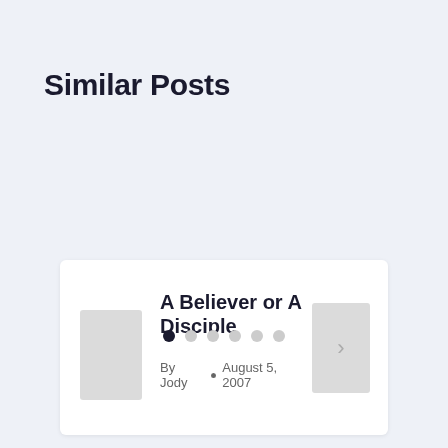Similar Posts
A Believer or A Disciple
By Jody • August 5, 2007